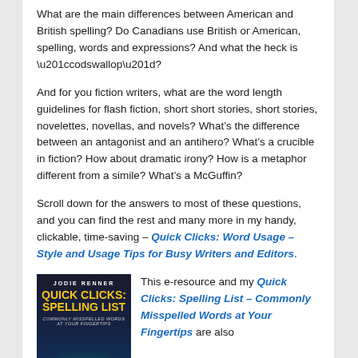What are the main differences between American and British spelling? Do Canadians use British or American, spelling, words and expressions? And what the heck is “codswallop”?
And for you fiction writers, what are the word length guidelines for flash fiction, short short stories, short stories, novelettes, novellas, and novels? What’s the difference between an antagonist and an antihero? What’s a crucible in fiction? How about dramatic irony? How is a metaphor different from a simile? What’s a McGuffin?
Scroll down for the answers to most of these questions, and you can find the rest and many more in my handy, clickable, time-saving – Quick Clicks: Word Usage – Style and Usage Tips for Busy Writers and Editors.
[Figure (illustration): Book cover of Quick Clicks: Spelling List by Jodie Renner, dark background with gold title text and green glow at bottom]
This e-resource and my Quick Clicks: Spelling List – Commonly Misspelled Words at Your Fingertips are also